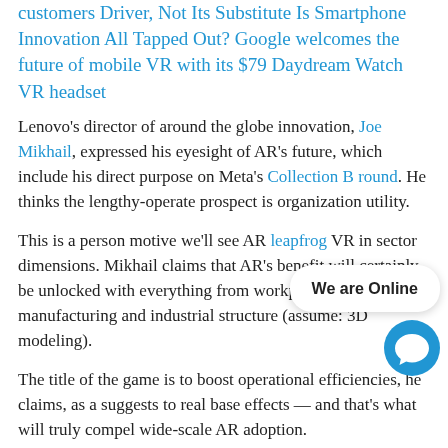customers Driver, Not Its Substitute Is Smartphone Innovation All Tapped Out? Google welcomes the future of mobile VR with its $79 Daydream Watch VR headset
Lenovo's director of around the globe innovation, Joe Mikhail, expressed his eyesight of AR's future, which include his direct purpose on Meta's Collection B round. He thinks the lengthy-operate prospect is organization utility.
This is a person motive we'll see AR leapfrog VR in sector dimensions. Mikhail claims that AR's benefit will certainly be unlocked with everything from workplace efficiency to manufacturing and industrial structure (assume: 3D modeling).
The title of the game is to boost operational efficiencies, he claims, as a suggests to real base effects — and that's what will truly compel wide-scale AR adoption.